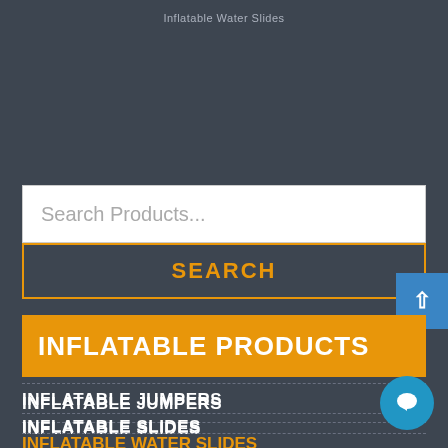Inflatable Water Slides
Search Products...
SEARCH
INFLATABLE PRODUCTS
INFLATABLE JUMPERS
INFLATABLE SLIDES
INFLATABLE WATER SLIDES